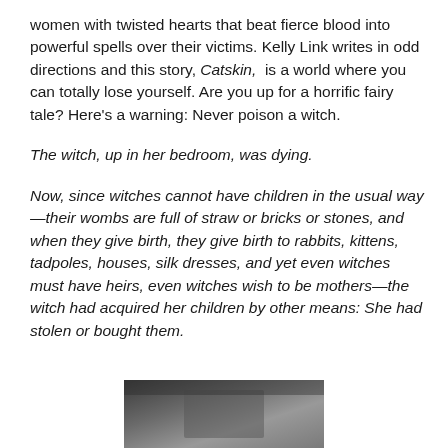women with twisted hearts that beat fierce blood into powerful spells over their victims. Kelly Link writes in odd directions and this story, Catskin, is a world where you can totally lose yourself. Are you up for a horrific fairy tale? Here's a warning: Never poison a witch.
The witch, up in her bedroom, was dying.
Now, since witches cannot have children in the usual way—their wombs are full of straw or bricks or stones, and when they give birth, they give birth to rabbits, kittens, tadpoles, houses, silk dresses, and yet even witches must have heirs, even witches wish to be mothers—the witch had acquired her children by other means: She had stolen or bought them.
[Figure (photo): Partial view of a dark/grayscale image at the bottom of the page, appears to be a photograph cut off at the bottom edge.]